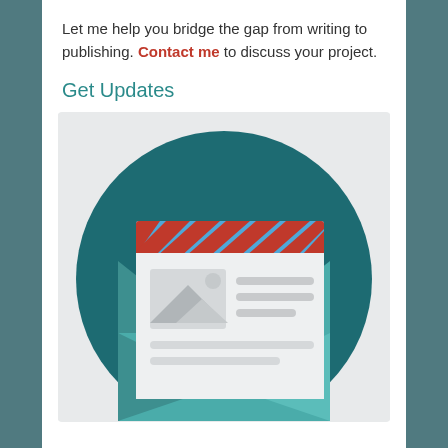Let me help you bridge the gap from writing to publishing. Contact me to discuss your project.
Get Updates
[Figure (illustration): Flat design illustration of an envelope/email icon: a teal open envelope with a postcard/letter sliding out, the letter has a diagonal red and blue striped border at the top (airmail style), and a placeholder image icon with mountains and text lines on the letter body. The envelope and letter are set against a large dark teal circle background on a light gray rectangle.]